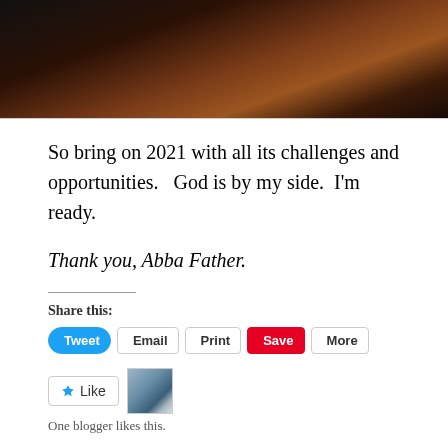[Figure (photo): Top portion of a photograph showing dark reddish-brown textured surface, possibly rock or wood, with dramatic lighting.]
So bring on 2021 with all its challenges and opportunities.   God is by my side.  I'm ready.
Thank you, Abba Father.
Share this:
Tweet  Email  Print  Save  More
Like
One blogger likes this.
Related